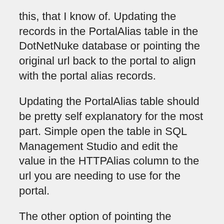this, that I know of. Updating the records in the PortalAlias table in the DotNetNuke database or pointing the original url back to the portal to align with the portal alias records.
Updating the PortalAlias table should be pretty self explanatory for the most part. Simple open the table in SQL Management Studio and edit the value in the HTTPAlias column to the url you are needing to use for the portal.
The other option of pointing the original url back at the portal may not always be possible. However, there is some trickery that can be used to emulate the original url. This is a well documented and widely used practice across platforms. You may have guessed it by now. Yes I am referring to the hosts file.
On windows it is located in %windir%\system32\drivers\etc and is simply called hosts. It is a standard text file with a description at the